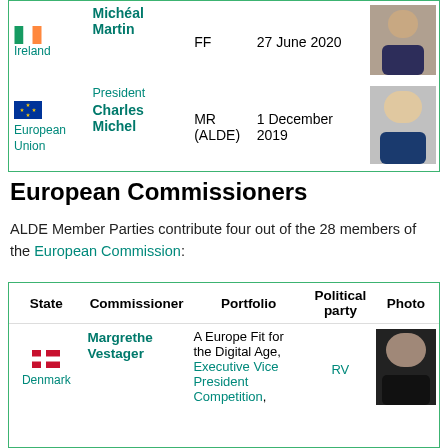| State | Name | Party | Date | Photo |
| --- | --- | --- | --- | --- |
| Ireland | Michéal Martin | FF | 27 June 2020 |  |
| European Union | Charles Michel
(President) | MR (ALDE) | 1 December 2019 |  |
European Commissioners
ALDE Member Parties contribute four out of the 28 members of the European Commission:
| State | Commissioner | Portfolio | Political party | Photo |
| --- | --- | --- | --- | --- |
| Denmark | Margrethe Vestager | A Europe Fit for the Digital Age,
Executive Vice President
Competition, | RV |  |